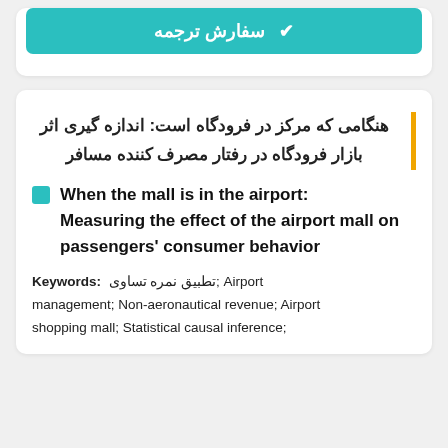[Figure (screenshot): Teal button with Persian text سفارش ترجمه and a checkmark icon]
هنگامی که مرکز در فرودگاه است: اندازه گیری اثر بازار فرودگاه در رفتار مصرف کننده مسافر
When the mall is in the airport: Measuring the effect of the airport mall on passengers' consumer behavior
Keywords: تطبیق نمره تساوی; Airport management; Non-aeronautical revenue; Airport shopping mall; Statistical causal inference;